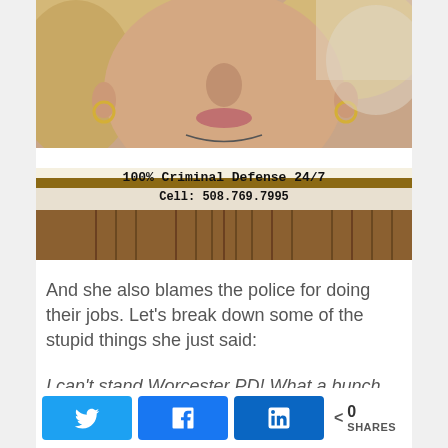[Figure (photo): Close-up selfie photo of a blonde woman's face, wearing hoop earrings and a necklace, against a light background]
[Figure (photo): Advertisement banner for a criminal defense lawyer showing interior of what appears to be a courthouse lobby with text '100% Criminal Defense 24/7 Cell: 508.769.7995']
And she also blames the police for doing their jobs. Let's break down some of the stupid things she just said:
I can't stand Worcester PD! What a bunch of crooked, lying, immature, lazy fucks!